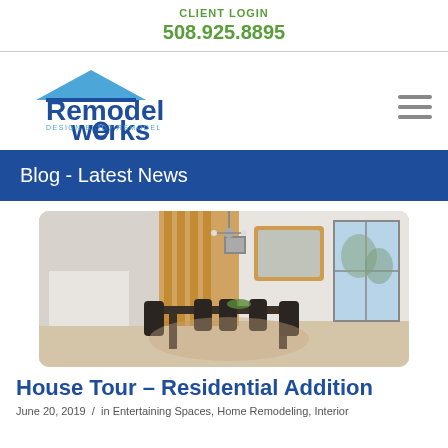CLIENT LOGIN
508.925.8895
[Figure (logo): Remodel Werks logo with house roof graphic and tagline DESIGN BUILD REMODEL]
Blog - Latest News
[Figure (photo): Interior dining room photo showing a modern renovation with a wooden feature wall, dining table with chairs, a large mirror, and a window with winter trees outside]
House Tour – Residential Addition
June 20, 2019  /  in Entertaining Spaces, Home Remodeling, Interior